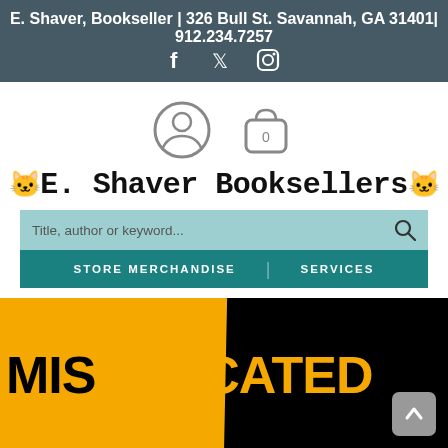E. Shaver, Bookseller | 326 Bull St. Savannah, GA 31401| 912.234.7257
[Figure (logo): Social media icons: Facebook, Twitter, Instagram]
[Figure (logo): User account icon and shopping cart icon with '0']
E. Shaver Booksellers
[Figure (screenshot): Search bar with placeholder 'Title, author or keyword...' and search icon on teal background]
[Figure (screenshot): Navigation bar with STORE MERCHANDISE and SERVICES on dark teal background]
[Figure (photo): Book cover showing 'MISEDUCATED' in large bold letters, yellow and black color scheme]